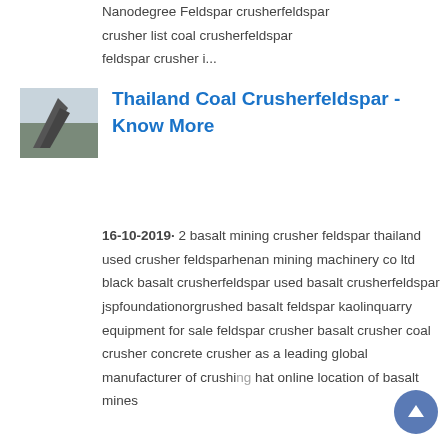Nanodegree Feldspar crusherfeldspar crusher list coal crusherfeldspar feldspar crusher i...
[Figure (photo): Thumbnail image of an industrial mining or crushing facility with a conveyor structure against a grey sky]
Thailand Coal Crusherfeldspar - Know More
16-10-2019· 2 basalt mining crusher feldspar thailand used crusher feldsparhenan mining machinery co ltd black basalt crusherfeldspar used basalt crusherfeldspar jspfoundationorgrushed basalt feldspar kaolinquarry equipment for sale feldspar crusher basalt crusher coal crusher concrete crusher as a leading global manufacturer of crushing hat online location of basalt mines